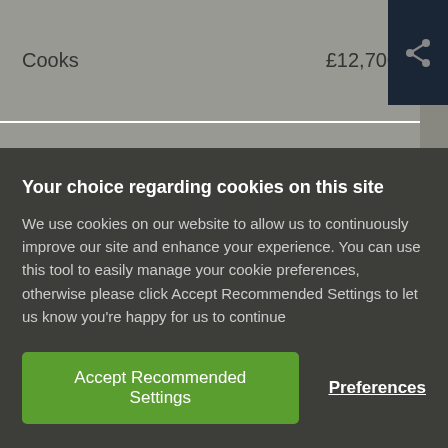| Job title | Salary |
| --- | --- |
| Cooks | £12,700 |
| Kitchen and catering assistants | £9,600 |
| Waiters and waitresses | £7,500 |
Your choice regarding cookies on this site
We use cookies on our website to allow us to continuously improve our site and enhance your experience. You can use this tool to easily manage your cookie preferences, otherwise please click Accept Recommended Settings to let us know you're happy for us to continue
Accept Recommended Settings
Preferences